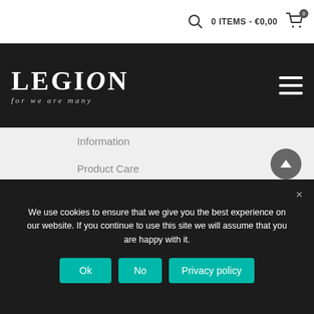0 ITEMS - €0,00
[Figure (logo): Legion logo - gothic text reading LEGION for we are many on dark background]
Information
Product Care
Returns & Exchanges
Shipping
Help / FAQ
Contact Us
Our policies
We use cookies to ensure that we give you the best experience on our website. If you continue to use this site we will assume that you are happy with it.